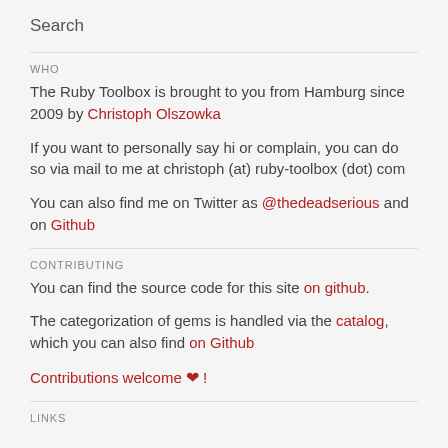Search
WHO
The Ruby Toolbox is brought to you from Hamburg since 2009 by Christoph Olszowka
If you want to personally say hi or complain, you can do so via mail to me at christoph (at) ruby-toolbox (dot) com
You can also find me on Twitter as @thedeadserious and on Github
CONTRIBUTING
You can find the source code for this site on github.
The categorization of gems is handled via the catalog, which you can also find on Github
Contributions welcome ❤ !
LINKS